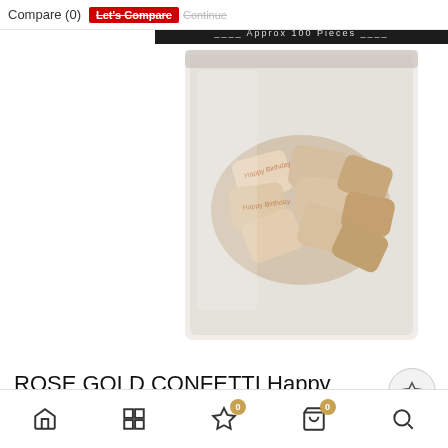Compare (0)
Let's Compare  Continue
[Figure (photo): A clear plastic bag containing rose gold confetti pieces shaped like birthday-themed cutouts, sitting against a white background. The package header is dark/black with script text reading 'Confetti' and 'Approx 100 Pieces'.]
ROSE GOLD CONFETTI Happy Birthday – GIFT FOR SISTER
Home | Grid | Wishlist (0) | Bag (0) | Search